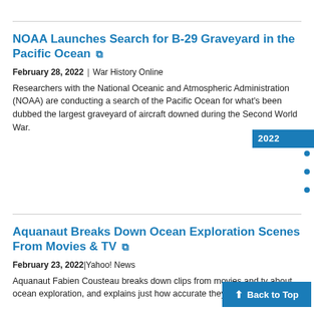NOAA Launches Search for B-29 Graveyard in the Pacific Ocean
February 28, 2022 | War History Online
Researchers with the National Oceanic and Atmospheric Administration (NOAA) are conducting a search of the Pacific Ocean for what's been dubbed the largest graveyard of aircraft downed during the Second World War.
Aquanaut Breaks Down Ocean Exploration Scenes From Movies & TV
February 23, 2022 | Yahoo! News
Aquanaut Fabien Cousteau breaks down clips from movies and tv about ocean exploration, and explains just how accurate they really